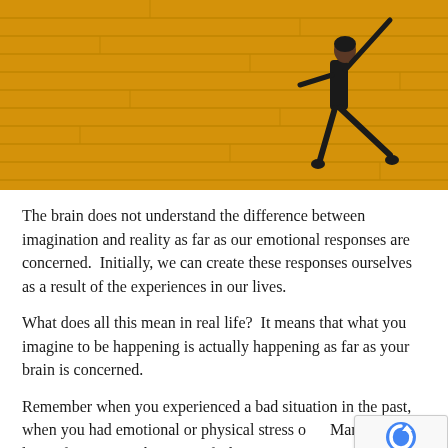[Figure (photo): A person in black clothing leaping or dancing against a bright yellow wooden plank wall background.]
The brain does not understand the difference between imagination and reality as far as our emotional responses are concerned.  Initially, we can create these responses ourselves as a result of the experiences in our lives.
What does all this mean in real life?  It means that what you imagine to be happening is actually happening as far as your brain is concerned.
Remember when you experienced a bad situation in the past, when you had emotional or physical stress or... Many months later, if you remember it you feel an